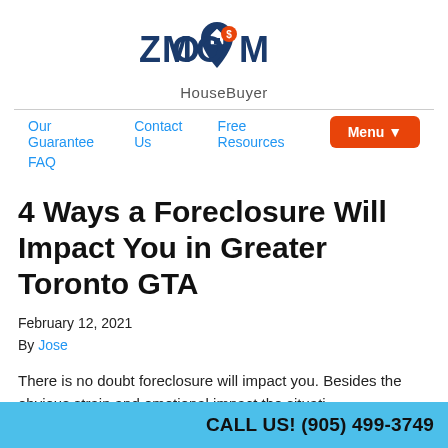[Figure (logo): Zoom HouseBuyer logo with map pin icon containing a house symbol and dollar sign, above the text HouseBuyer]
Our Guarantee   Contact Us   Free Resources   FAQ   Menu ▼
4 Ways a Foreclosure Will Impact You in Greater Toronto GTA
February 12, 2021
By Jose
There is no doubt foreclosure will impact you. Besides the obvious strain and emotional impact the situati
CALL US! (905) 499-3749